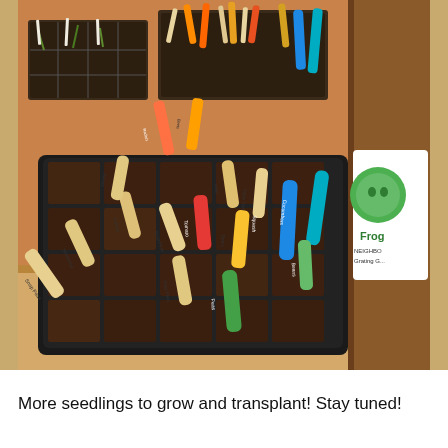[Figure (photo): A seed starting tray with multiple peat pot cells filled with dark soil, each marked with colorful popsicle stick labels identifying different vegetables and plants (Snap Peas, Carrots, Strawberry, Kale, Beets, Beans, Sugar Snap, Onions, etc.). Several additional trays with sprouting seedlings visible in the background. A partial sign reading 'Frog Neighborhood' is visible on the right side.]
More seedlings to grow and transplant! Stay tuned!